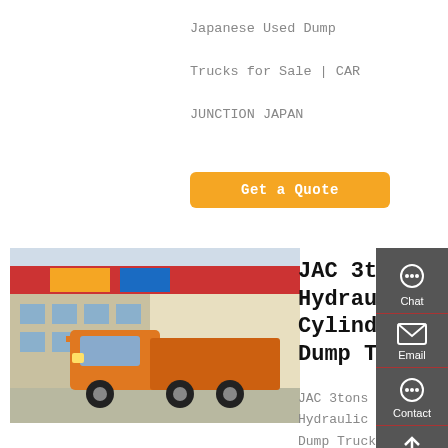Japanese Used Dump Trucks for Sale | CAR JUNCTION JAPAN
Get a Quote
[Figure (photo): Orange JAC dump truck / semi-truck parked in front of a commercial building with colorful signage]
JAC 3tons 5tons Hydraulic Cylinder Small Dump Truck For
JAC 3tons 5tons Hydraulic Cylinder Small Dump Truck for Sale, Find Details about 3tons Dump Truck, 3tons Tipper